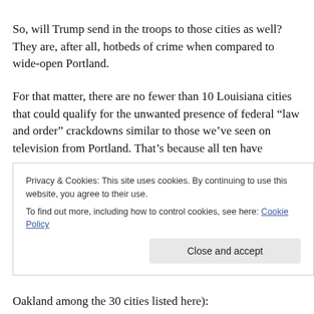So, will Trump send in the troops to those cities as well? They are, after all, hotbeds of crime when compared to wide-open Portland.
For that matter, there are no fewer than 10 Louisiana cities that could qualify for the unwanted presence of federal “law and order” crackdowns similar to those we’ve seen on television from Portland. That’s because all ten have
Privacy & Cookies: This site uses cookies. By continuing to use this website, you agree to their use.
To find out more, including how to control cookies, see here: Cookie Policy
Oakland among the 30 cities listed here):